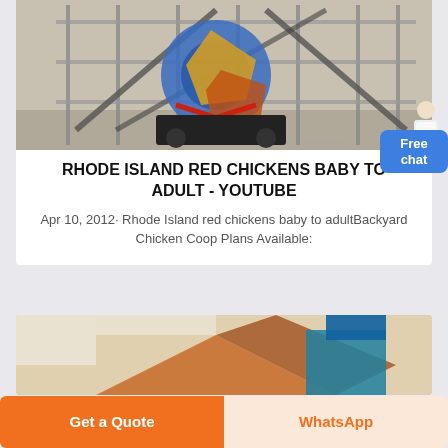[Figure (photo): Industrial machinery/equipment photo with colorful structural elements (blue, yellow, orange) against a sandy/gray background. A watermark/timestamp 8010300116 visible at bottom right.]
RHODE ISLAND RED CHICKENS BABY TO ADULT - YOUTUBE
Apr 10, 2012· Rhode Island red chickens baby to adultBackyard Chicken Coop Plans Available:
[Figure (photo): Partially visible photo of what appears to be wooden/colorful structures or buildings, showing roof lines in orange and blue against white background.]
Get a Quote
WhatsApp